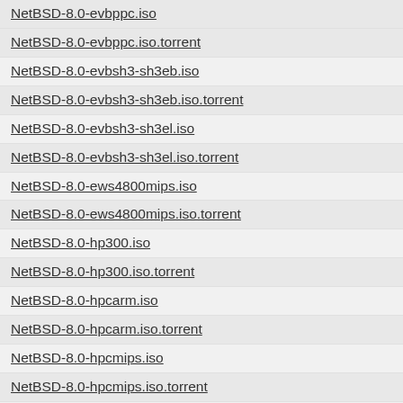NetBSD-8.0-evbppc.iso
NetBSD-8.0-evbppc.iso.torrent
NetBSD-8.0-evbsh3-sh3eb.iso
NetBSD-8.0-evbsh3-sh3eb.iso.torrent
NetBSD-8.0-evbsh3-sh3el.iso
NetBSD-8.0-evbsh3-sh3el.iso.torrent
NetBSD-8.0-ews4800mips.iso
NetBSD-8.0-ews4800mips.iso.torrent
NetBSD-8.0-hp300.iso
NetBSD-8.0-hp300.iso.torrent
NetBSD-8.0-hpcarm.iso
NetBSD-8.0-hpcarm.iso.torrent
NetBSD-8.0-hpcmips.iso
NetBSD-8.0-hpcmips.iso.torrent
NetBSD-8.0-hpcsh.iso
NetBSD-8.0-hpcsh.iso.torrent
NetBSD-8.0-hppa.iso
NetBSD-8.0-hppa.iso.torrent
NetBSD-8.0-i386-install.img.gz
NetBSD-8.0-i386-install.img.gz.torrent